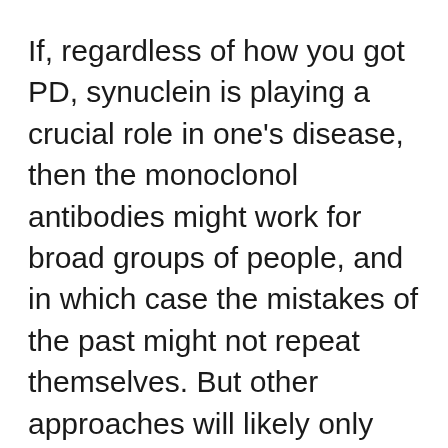If, regardless of how you got PD, synuclein is playing a crucial role in one's disease, then the monoclonol antibodies might work for broad groups of people, and in which case the mistakes of the past might not repeat themselves. But other approaches will likely only work for smaller groups of people. For example, therapies are being developed that will target patients with specific gene mutations